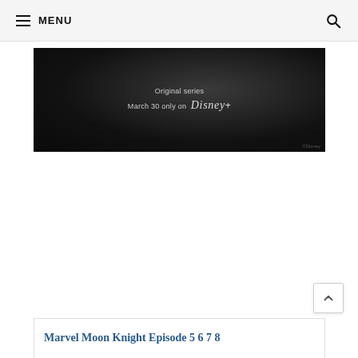MENU
[Figure (photo): Dark promotional banner for a Disney+ original series. Text reads 'Original series March 30 only on Disney+' with the Disney+ logo on a dark background.]
Marvel Moon Knight Episode 5 6 7 8